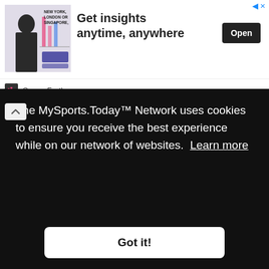[Figure (screenshot): Advertisement banner: image of man in suit with text 'NEW YORK, LONDON OR SINGAPORE,' on left; 'Get insights anytime, anywhere' headline in center; 'Open' button on right; 'Sense Forth' logo below.]
a utility role for the Cubs that season.
For his career, he posted 20.9 bWAR/19.7fWAR, during 11 seasons with Atlanta and two with the Cubs with a 102 OPS+ and a 106 wRC+. He posted the highest bWAR of any player drafted in the secondary 1984 draft (the next
The MySports.Today™ Network uses cookies to ensure you receive the best experience while on our network of websites. Learn more
Got it!